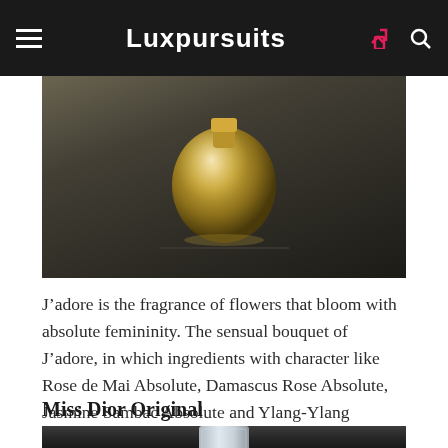Luxpursuits
[Figure (photo): Close-up of a golden/amber glass perfume bottle (J'adore by Dior) on a dark background with warm lighting highlighting the rounded bottle shape.]
J’adore is the fragrance of flowers that bloom with absolute femininity. The sensual bouquet of J’adore, in which ingredients with character like Rose de Mai Absolute, Damascus Rose Absolute, Jasmine Sambac Absolute and Ylang-Ylang Essence dominate.
Miss Dior Original
[Figure (photo): Bottom portion of a Miss Dior Original perfume bottle on a dark background, partially visible.]